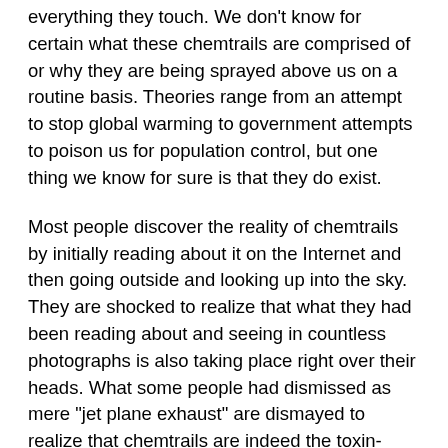everything they touch. We don't know for certain what these chemtrails are comprised of or why they are being sprayed above us on a routine basis. Theories range from an attempt to stop global warming to government attempts to poison us for population control, but one thing we know for sure is that they do exist.
Most people discover the reality of chemtrails by initially reading about it on the Internet and then going outside and looking up into the sky. They are shocked to realize that what they had been reading about and seeing in countless photographs is also taking place right over their heads. What some people had dismissed as mere "jet plane exhaust" are dismayed to realize that chemtrails are indeed the toxin-laden aerosols that have been described here and at other web sites since 1998 and they are not being sprayed for any benign or national security reason as the government would